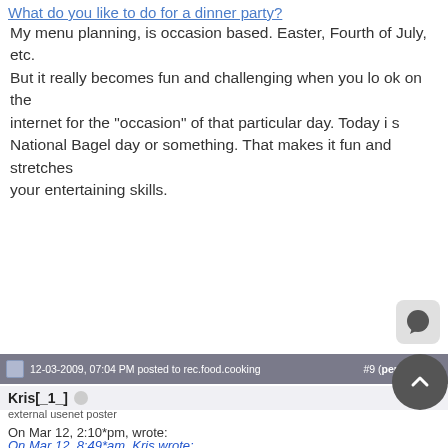What do you like to do for a dinner party?
My menu planning, is occasion based. Easter, Fourth of July, etc.
But it really becomes fun and challenging when you look on the internet for the "occasion" of that particular day. Today is National Bagel day or something. That makes it fun and stretches your entertaining skills.
12-03-2009, 07:04 PM posted to rec.food.cooking  #9 (permalink)
Kris[_1_]
external usenet poster
On Mar 12, 2:10*pm, wrote:
On Mar 12, 8:49*am, Kris wrote: